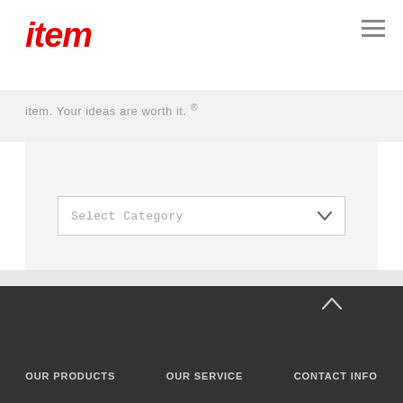item
item. Your ideas are worth it. ®
Categories
Select Category
OUR PRODUCTS   OUR SERVICE   CONTACT INFO